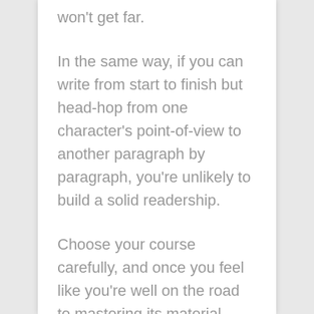won't get far.
In the same way, if you can write from start to finish but head-hop from one character's point-of-view to another paragraph by paragraph, you're unlikely to build a solid readership.
Choose your course carefully, and once you feel like you're well on the road to mastering its material, consider selecting a second option.